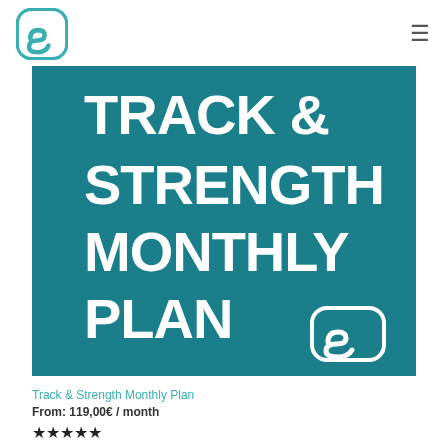Logo and navigation header
[Figure (illustration): Teal/dark cyan background product image showing 'TRACK & STRENGTH MONTHLY PLAN' in large bold white text, with a white logo (stylized S in rounded rectangle) in the bottom right corner.]
Track & Strength Monthly Plan
From: 119,00€ / month
★★★★★